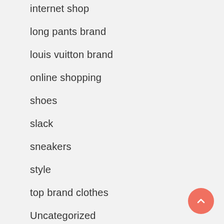internet shop
long pants brand
louis vuitton brand
online shopping
shoes
slack
sneakers
style
top brand clothes
Uncategorized
women's clothing